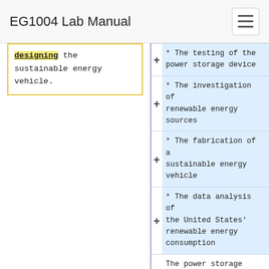EG1004 Lab Manual
designing the sustainable energy vehicle.
* The testing of the power storage device
* The investigation of renewable energy sources
* The fabrication of a sustainable energy vehicle
* The data analysis of the United States' renewable energy consumption
The power storage device and power